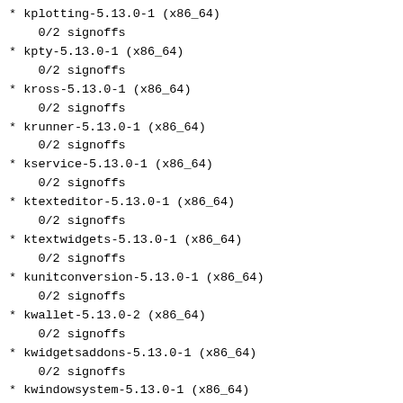* kplotting-5.13.0-1 (x86_64)
    0/2 signoffs
* kpty-5.13.0-1 (x86_64)
    0/2 signoffs
* kross-5.13.0-1 (x86_64)
    0/2 signoffs
* krunner-5.13.0-1 (x86_64)
    0/2 signoffs
* kservice-5.13.0-1 (x86_64)
    0/2 signoffs
* ktexteditor-5.13.0-1 (x86_64)
    0/2 signoffs
* ktextwidgets-5.13.0-1 (x86_64)
    0/2 signoffs
* kunitconversion-5.13.0-1 (x86_64)
    0/2 signoffs
* kwallet-5.13.0-2 (x86_64)
    0/2 signoffs
* kwidgetsaddons-5.13.0-1 (x86_64)
    0/2 signoffs
* kwindowsystem-5.13.0-1 (x86_64)
    0/2 signoffs
* kxmlgui-5.13.0-1 (x86_64)
    0/2 signoffs
* kxmlrpcclient-5.13.0-1 (x86_64)
    0/2 signoffs
* libinput-0.21.0-2 (x86_64)
    0/2 signoffs
* linux-zen-4.1.5-1 (x86_64)
    1/2 signoffs